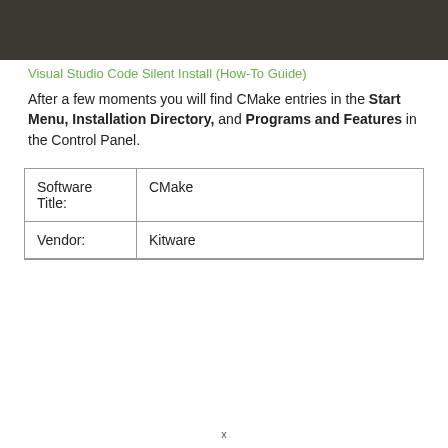[Figure (screenshot): Dark banner header area with dark olive/charcoal background]
Visual Studio Code Silent Install (How-To Guide)
After a few moments you will find CMake entries in the Start Menu, Installation Directory, and Programs and Features in the Control Panel.
| Software Title: | CMake |
| Vendor: | Kitware |